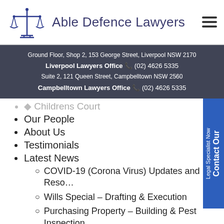[Figure (logo): Able Defence Lawyers logo with scales of justice icon in blue and firm name text]
Ground Floor, Shop 2, 153 George Street, Liverpool NSW 2170
Liverpool Lawyers Office (02) 4626 5335
Suite 2, 121 Queen Street, Campbelltown NSW 2560
Campbelltown Lawyers Office (02) 4626 5335
Childrens Court (partial)
Our People
About Us
Testimonials
Latest News
COVID-19 (Corona Virus) Updates and Reso…
Wills Special – Drafting & Execution
Purchasing Property – Building & Pest Inspection
Bail Application – Experienced Sydney, Liverpool